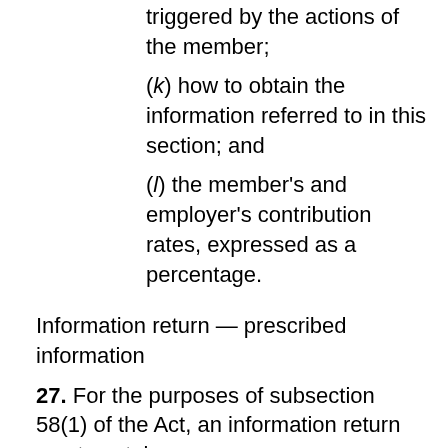triggered by the actions of the member;
(k) how to obtain the information referred to in this section; and
(l) the member's and employer's contribution rates, expressed as a percentage.
Information return — prescribed information
27. For the purposes of subsection 58(1) of the Act, an information return must contain
(a) a list of the investment options